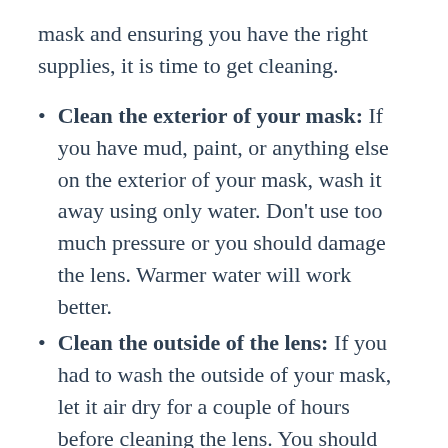mask and ensuring you have the right supplies, it is time to get cleaning.
Clean the exterior of your mask: If you have mud, paint, or anything else on the exterior of your mask, wash it away using only water. Don’t use too much pressure or you should damage the lens. Warmer water will work better.
Clean the outside of the lens: If you had to wash the outside of your mask, let it air dry for a couple of hours before cleaning the lens. You should clean the lens only with lens cleaner and a